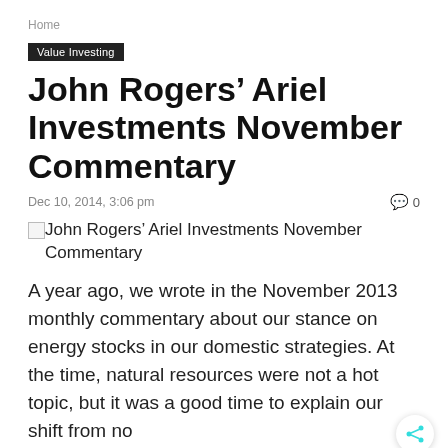Home
Value Investing
John Rogers’ Ariel Investments November Commentary
Dec 10, 2014, 3:06 pm
0
[Figure (other): Broken image placeholder for John Rogers’ Ariel Investments November Commentary]
A year ago, we wrote in the November 2013 monthly commentary about our stance on energy stocks in our domestic strategies. At the time, natural resources were not a hot topic, but it was a good time to explain our shift from no